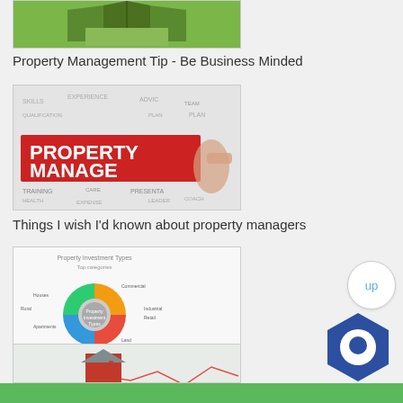[Figure (photo): Thumbnail image of an open book on grass, partially visible at top]
Property Management Tip - Be Business Minded
[Figure (photo): Thumbnail image showing a word cloud with PROPERTY MANAGE text highlighted in red]
Things I wish I'd known about property managers
[Figure (donut-chart): Thumbnail of a donut/wheel chart showing property investment types]
Rules for successful property investing – Rule 11
[Figure (photo): Thumbnail showing a 3D house model on a financial chart/graph]
[Figure (other): Blue hexagon chat icon in bottom right corner]